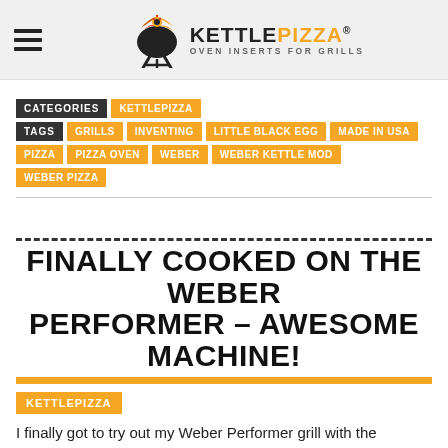KETTLEPIZZA - OVEN INSERTS FOR GRILLS
CATEGORIES  KETTLEPIZZA
TAGS  GRILLS  INVENTING  LITTLE BLACK EGG  MADE IN USA  PIZZA  PIZZA OVEN  WEBER  WEBER KETTLE MOD  WEBER PIZZA
FINALLY COOKED ON THE WEBER PERFORMER – AWESOME MACHINE!
KETTLEPIZZA
I finally got to try out my Weber Performer grill with the